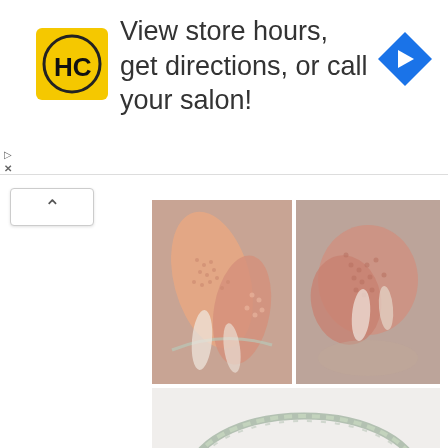[Figure (screenshot): Advertisement banner with HC Salon logo (yellow square with HC in black), text 'View store hours, get directions, or call your salon!' and a blue navigation arrow icon on the right. Small play and close controls on the left side.]
[Figure (photo): Close-up photo of salmon/copper-colored seed bead jewelry pieces showing beaded leaf or petal shapes with silver-toned beads.]
[Figure (photo): Close-up photo of salmon/copper-colored seed bead jewelry pieces, another angle showing the beaded decoration details.]
[Figure (photo): Full view of a beaded necklace consisting of a twisted silver/sage green rope chain with three salmon-pink beaded flower/leaf pendants hanging from it, photographed on a white background.]
Necklaces